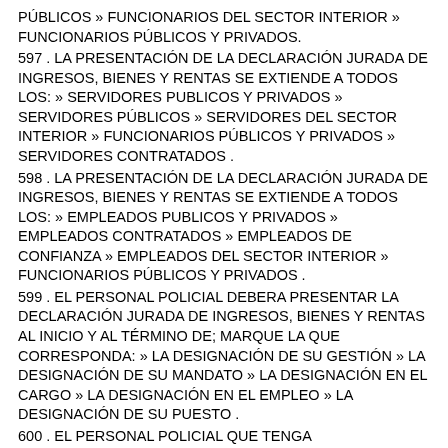PÚBLICOS » FUNCIONARIOS DEL SECTOR INTERIOR » FUNCIONARIOS PÚBLICOS Y PRIVADOS.
597 . LA PRESENTACIÓN DE LA DECLARACIÓN JURADA DE INGRESOS, BIENES Y RENTAS SE EXTIENDE A TODOS LOS: » SERVIDORES PUBLICOS Y PRIVADOS » SERVIDORES PÚBLICOS » SERVIDORES DEL SECTOR INTERIOR » FUNCIONARIOS PÚBLICOS Y PRIVADOS » SERVIDORES CONTRATADOS .
598 . LA PRESENTACIÓN DE LA DECLARACIÓN JURADA DE INGRESOS, BIENES Y RENTAS SE EXTIENDE A TODOS LOS: » EMPLEADOS PUBLICOS Y PRIVADOS » EMPLEADOS CONTRATADOS » EMPLEADOS DE CONFIANZA » EMPLEADOS DEL SECTOR INTERIOR » FUNCIONARIOS PÚBLICOS Y PRIVADOS .
599 . EL PERSONAL POLICIAL DEBERA PRESENTAR LA DECLARACIÓN JURADA DE INGRESOS, BIENES Y RENTAS AL INICIO Y AL TÉRMINO DE; MARQUE LA QUE CORRESPONDA: » LA DESIGNACIÓN DE SU GESTIÓN » LA DESIGNACIÓN DE SU MANDATO » LA DESIGNACIÓN EN EL CARGO » LA DESIGNACIÓN EN EL EMPLEO » LA DESIGNACIÓN DE SU PUESTO .
600 . EL PERSONAL POLICIAL QUE TENGA RESPONSABILIDAD EN LOS PROCESOS DE